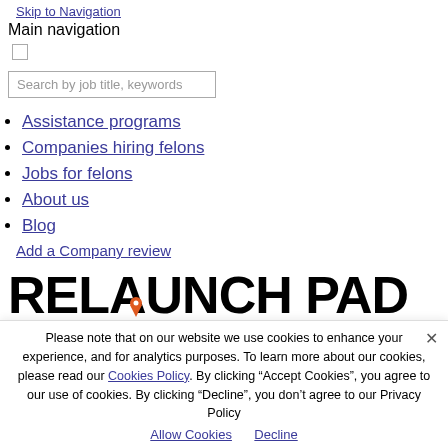Skip to Navigation
Main navigation
Search by job title, keywords
Assistance programs
Companies hiring felons
Jobs for felons
About us
Blog
Add a Company review
[Figure (logo): Relaunch Pad logo — bold black letters RELAUNCH PAD with an orange location pin below the A]
Please note that on our website we use cookies to enhance your experience, and for analytics purposes. To learn more about our cookies, please read our Cookies Policy. By clicking “Accept Cookies”, you agree to our use of cookies. By clicking “Decline”, you don’t agree to our Privacy Policy
Allow Cookies    Decline